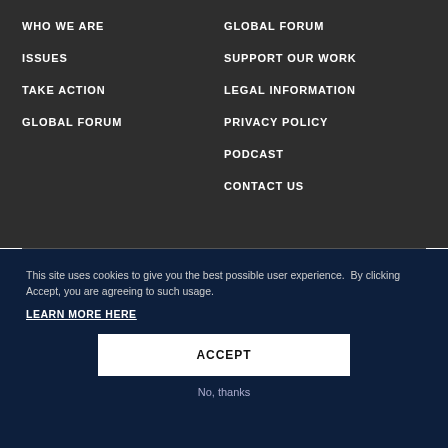WHO WE ARE
GLOBAL FORUM
ISSUES
SUPPORT OUR WORK
TAKE ACTION
LEGAL INFORMATION
GLOBAL FORUM
PRIVACY POLICY
PODCAST
CONTACT US
This site uses cookies to give you the best possible user experience.  By clicking Accept, you are agreeing to such usage.
LEARN MORE HERE
ACCEPT
No, thanks